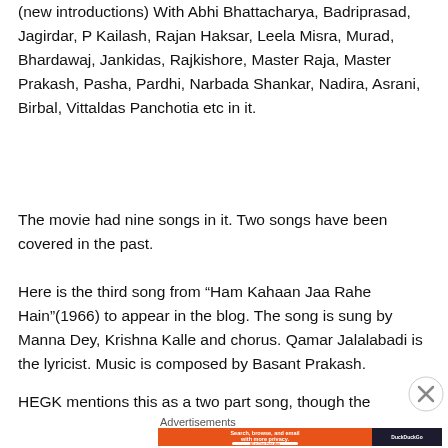(new introductions) With Abhi Bhattacharya, Badriprasad, Jagirdar, P Kailash, Rajan Haksar, Leela Misra, Murad, Bhardawaj, Jankidas, Rajkishore, Master Raja, Master Prakash, Pasha, Pardhi, Narbada Shankar, Nadira, Asrani, Birbal, Vittaldas Panchotia etc in it.
The movie had nine songs in it. Two songs have been covered in the past.
Here is the third song from “Ham Kahaan Jaa Rahe Hain”(1966) to appear in the blog. The song is sung by Manna Dey, Krishna Kalle and chorus. Qamar Jalalabadi is the lyricist. Music is composed by Basant Prakash.
HEGK mentions this as a two part song, though the
Advertisements
[Figure (other): DuckDuckGo advertisement banner: orange background with text 'Search, browse, and email with more privacy. All in One Free App' and DuckDuckGo logo on dark background]